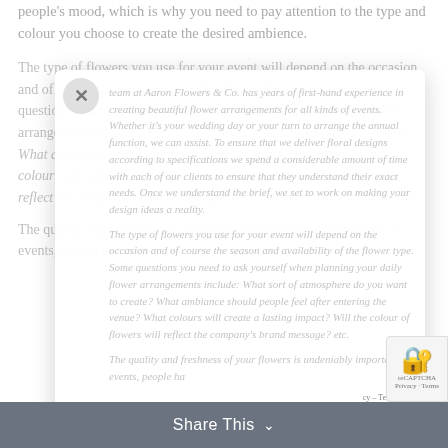people's mood, which is why you need to pay attention to the type and colour you choose to create the desired ambience.
The team at Aaron Flowers & Co. has years of first-hand experience in creating beautiful flower arrangements for all kinds of events. Whether it's your wedding day or your turn to arrange the annual function, we can assist. To ensure that we deliver floral designs according to specifications we spend a considerable amount of time with each of our clients to ensure that they understand their exact needs. Once we understand the brief, we set to work on making your design ideas a reality.
The type of flowers you use for your event will depend on the occasion and of course the season and availability of the flower. Some questions you need to ask yourself when planning your daily flower arrangements include: What sort of atmosphere do you want to create? What ambiance should people feel after entering the venue? What colours will create a lasting impact? Will the colour of flowers will reflect the company's brand message? etc.
The quality and freshness of your flowers is undeniably important. At events, people have...
Share This